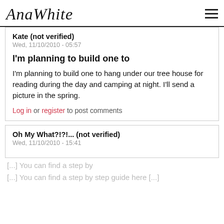AnaWhite
Kate (not verified)
Wed, 11/10/2010 - 05:57
I'm planning to build one to
I'm planning to build one to hang under our tree house for reading during the day and camping at night. I'll send a picture in the spring.
Log in or register to post comments
Oh My What?!?!... (not verified)
Wed, 11/10/2010 - 15:41
[...] You can find a step by
[...] You can find a step by step guide here [...]